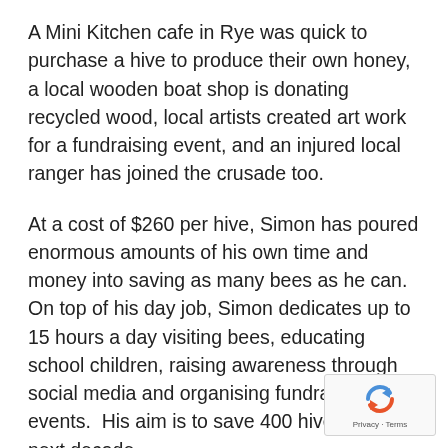A Mini Kitchen cafe in Rye was quick to purchase a hive to produce their own honey, a local wooden boat shop is donating recycled wood, local artists created art work for a fundraising event, and an injured local ranger has joined the crusade too.
At a cost of $260 per hive, Simon has poured enormous amounts of his own time and money into saving as many bees as he can.  On top of his day job, Simon dedicates up to 15 hours a day visiting bees, educating school children, raising awareness through social media and organising fundraising events.  His aim is to save 400 hives in the next decade.
[Figure (logo): reCAPTCHA badge with recycling arrow icon and Privacy/Terms text]